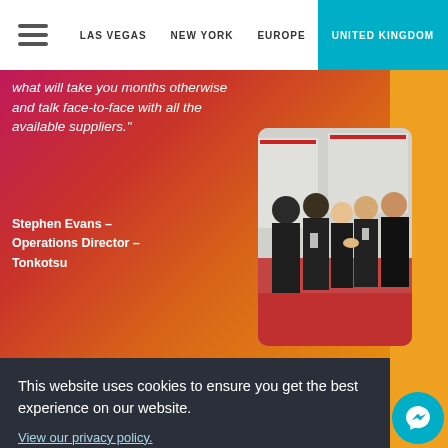LAS VEGAS | NEW YORK | EUROPE | UNITED KINGDOM
what will take you months otherwise and talk face-to-face with all the available suppliers."
Stephen Evans – Operations Director – Tonkotsu
[Figure (photo): People networking/shaking hands at a trade show or exhibition event]
This website uses cookies to ensure you get the best experience on our website.
View our privacy policy.
Got it!
Manger. Now CEO at We